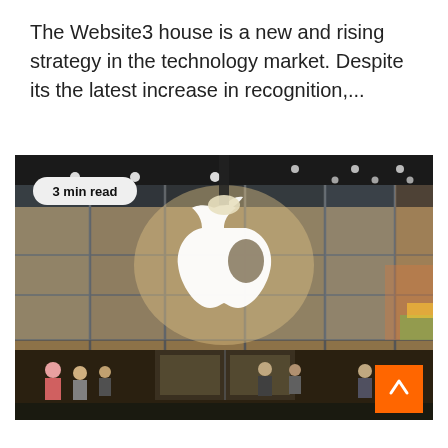The Website3 house is a new and rising strategy in the technology market. Despite its the latest increase in recognition,...
[Figure (photo): Exterior photo of an Apple Store with large glass facade panels, glowing illuminated Apple logo in the center, ceiling lights visible inside, people walking on the street level. A '3 min read' badge overlaid at the top left. An orange scroll-to-top arrow button at the bottom right.]